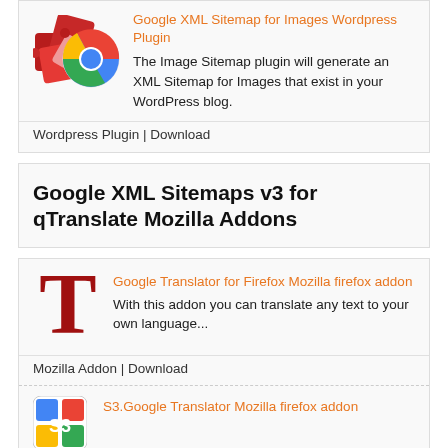[Figure (logo): Puzzle pieces with Chrome browser logo overlaid]
Google XML Sitemap for Images Wordpress Plugin
The Image Sitemap plugin will generate an XML Sitemap for Images that exist in your WordPress blog.
Wordpress Plugin | Download
Google XML Sitemaps v3 for qTranslate Mozilla Addons
[Figure (illustration): Large red letter T in serif font]
Google Translator for Firefox Mozilla firefox addon
With this addon you can translate any text to your own language...
Mozilla Addon | Download
[Figure (logo): S3 Google Translator icon with colorful squares]
S3.Google Translator Mozilla firefox addon
S3.Google Translator adds the power of Google Translateâ€™s...